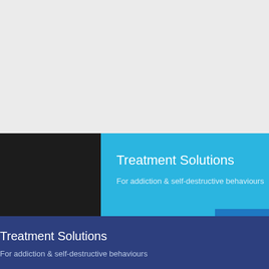[Figure (screenshot): Top portion showing a light gray/white background area]
Treatment Solutions
For addiction & self-destructive behaviours
0800 1
Immediat
Treatment Solutions
For addiction & self-destructive behaviours